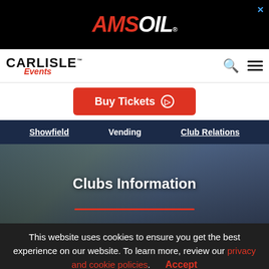[Figure (logo): AMSOIL advertisement banner with white AMSOIL logo on black background]
[Figure (logo): Carlisle Events logo with bold CARLISLE text and red italic Events script below]
Buy Tickets ⊙
Showfield   Vending   Club Relations
Clubs Information
This website uses cookies to ensure you get the best experience on our website. To learn more, review our privacy and cookie policies.   Accept